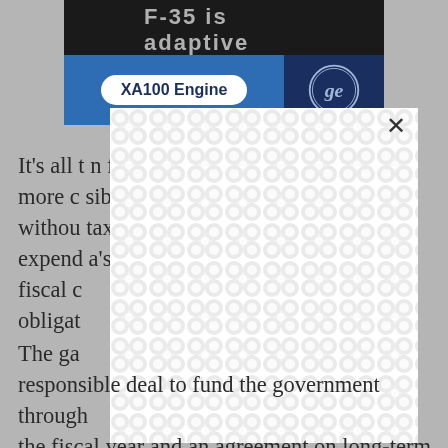[Figure (screenshot): XA100 Engine banner with GE logo on blue header bar, partially visible at top of page]
[Figure (other): Modal overlay with bubble/pebble pattern obscuring article text, with X close button]
It’s all … n for more c… sibly withou… tax expend… a’s fiscal c… obligat…
The ga… responsible deal to fund the government through the fiscal year and an agreement on long-term fiscal stability.